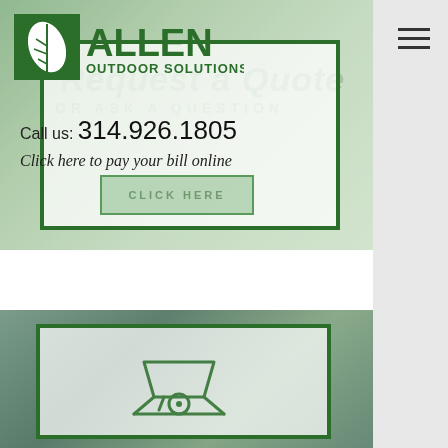[Figure (screenshot): Allen Outdoor Solutions website screenshot showing logo, navigation hamburger menu, contact info with phone number 314.926.1805, pay bill online link, and a second panel with wheelbarrow icon]
Call us: 314.926.1805
Click here to pay your bill online
CLICK HERE